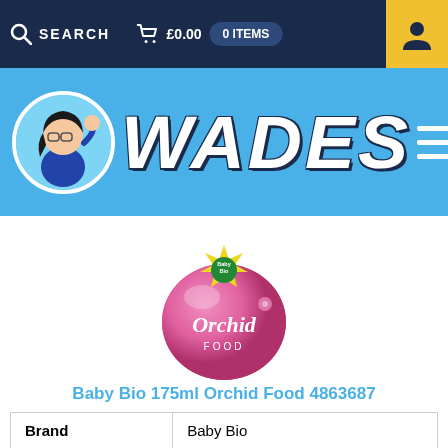SEARCH  £0.00  0 ITEMS
[Figure (logo): Wades shop logo with cartoon character and WADES text on blue banner]
[Figure (photo): Baby Bio 175ml Orchid Food product bottle - pink spherical bottle with Baby Bio logo and Orchid Food text]
Baby Bio 175ml Orchid Food 4863687
| Brand | Baby Bio |
| Type | Orchid Feed |
£3.70
ADD TO BASKET